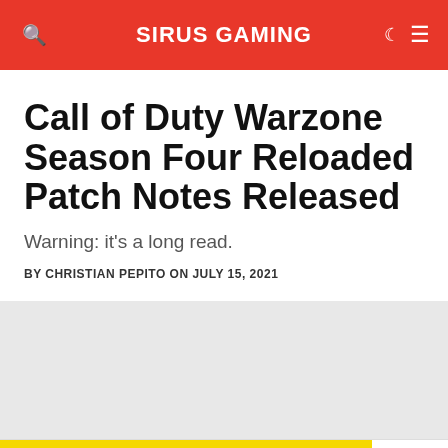SIRUS GAMING
Call of Duty Warzone Season Four Reloaded Patch Notes Released
Warning: it's a long read.
BY CHRISTIAN PEPITO ON JULY 15, 2021
[Figure (other): Gray placeholder image band]
[Figure (other): Advertisement banner: It's okay to question. Now get the facts on COVID-19 vaccines. GetVaccineAnswers.org]